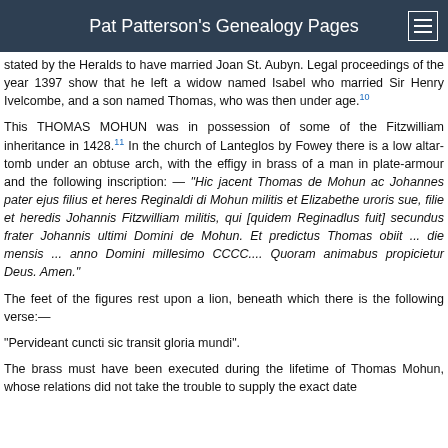Pat Patterson's Genealogy Pages
stated by the Heralds to have married Joan St. Aubyn. Legal proceedings of the year 1397 show that he left a widow named Isabel who married Sir Henry Ivelcombe, and a son named Thomas, who was then under age.10
This THOMAS MOHUN was in possession of some of the Fitzwilliam inheritance in 1428.11 In the church of Lanteglos by Fowey there is a low altar-tomb under an obtuse arch, with the effigy in brass of a man in plate-armour and the following inscription: — "Hic jacent Thomas de Mohun ac Johannes pater ejus filius et heres Reginaldi di Mohun militis et Elizabethe uroris sue, filie et heredis Johannis Fitzwilliam militis, qui [quidem Reginadlus fuit] secundus frater Johannis ultimi Domini de Mohun. Et predictus Thomas obiit ... die mensis ... anno Domini millesimo CCCC.... Quoram animabus propicietur Deus. Amen."
The feet of the figures rest upon a lion, beneath which there is the following verse:—
"Pervideant cuncti sic transit gloria mundi".
The brass must have been executed during the lifetime of Thomas Mohun, whose relations did not take the trouble to supply the exact date